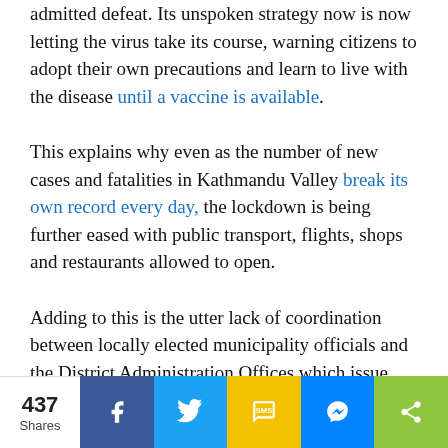admitted defeat. Its unspoken strategy now is now letting the virus take its course, warning citizens to adopt their own precautions and learn to live with the disease until a vaccine is available.
This explains why even as the number of new cases and fatalities in Kathmandu Valley break its own record every day, the lockdown is being further eased with public transport, flights, shops and restaurants allowed to open.
Adding to this is the utter lack of coordination between locally elected municipality officials and the District Administration Offices which issue new and contradictory guidelines every day and blame each other for the situation
437 Shares | Facebook | Twitter | SMS | Messenger | Share